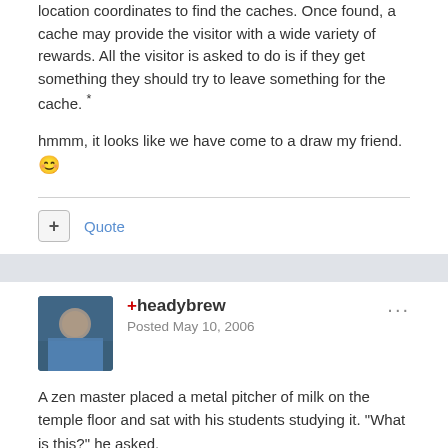location coordinates to find the caches. Once found, a cache may provide the visitor with a wide variety of rewards. All the visitor is asked to do is if they get something they should try to leave something for the cache. *
hmmm, it looks like we have come to a draw my friend. 😊
Quote
+headybrew
Posted May 10, 2006
A zen master placed a metal pitcher of milk on the temple floor and sat with his students studying it. "What is this?" he asked.
"A pitcher of milk." replied one student.
"You have much to learn." Said the master.
A second student spoke, "it is something you drink, something you taste,